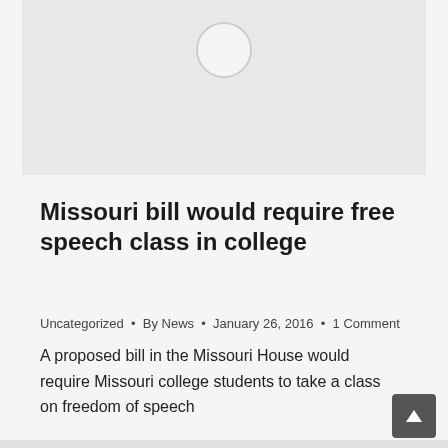[Figure (other): Gray placeholder image area with a circular loading/avatar icon at the top center]
Missouri bill would require free speech class in college
Uncategorized • By News • January 26, 2016 • 1 Comment
A proposed bill in the Missouri House would require Missouri college students to take a class on freedom of speech